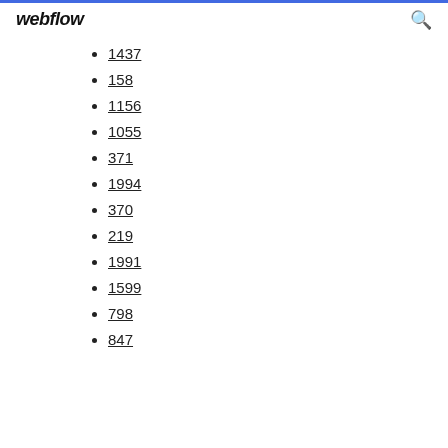webflow
1437
158
1156
1055
371
1994
370
219
1991
1599
798
847